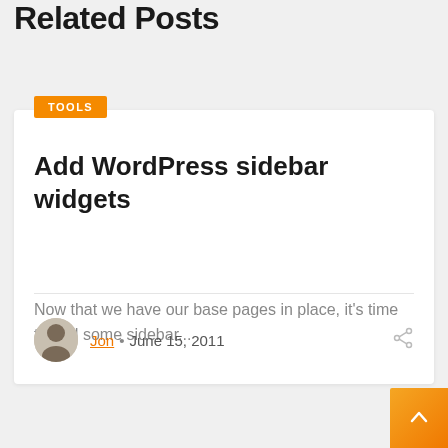Related Posts
TOOLS
Add WordPress sidebar widgets
Now that we have our base pages in place, it's time to add some sidebar...
Jon • June 15, 2011